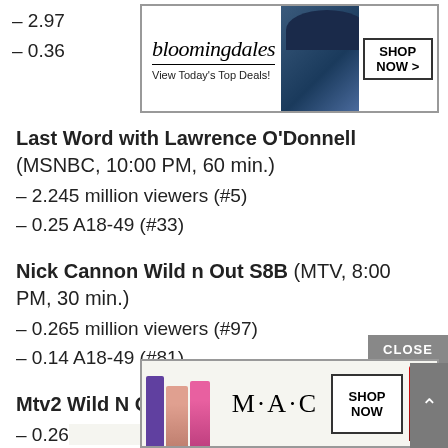– 2.97
– 0.36
[Figure (screenshot): Bloomingdales advertisement banner: 'bloomingdales / View Today's Top Deals!' with image of woman in hat and 'SHOP NOW >' button]
Last Word with Lawrence O'Donnell (MSNBC, 10:00 PM, 60 min.)
– 2.245 million viewers (#5)
– 0.25 A18-49 (#33)
Nick Cannon Wild n Out S8B (MTV, 8:00 PM, 30 min.)
– 0.265 million viewers (#97)
– 0.14 A18-49 (#81)
Mtv2 Wild N Out (MTV, 8:30 PM, 30 min.)
– 0.267 million viewers (#96)
– 0.14
[Figure (screenshot): MAC cosmetics advertisement with colorful lipsticks, MAC logo, and 'SHOP NOW' button]